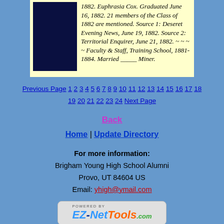1882. Euphrasia Cox. Graduated June 16, 1882. 21 members of the Class of 1882 are mentioned. Source 1: Deseret Evening News, June 19, 1882. Source 2: Territorial Enquirer, June 21, 1882. ~ ~ ~ ~ Faculty & Staff, Training School, 1881-1884. Married _____ Miner.
Previous Page 1 2 3 4 5 6 7 8 9 10 11 12 13 14 15 16 17 18 19 20 21 22 23 24 Next Page
Back
Home | Update Directory
For more information:
Brigham Young High School Alumni
Provo, UT 84604 US
Email: yhigh@ymail.com
[Figure (logo): Powered by EZ-NetTools.com logo]
© Copyright 2022 Brigham Young Academy / Brigham Young High School. All rights reserved.